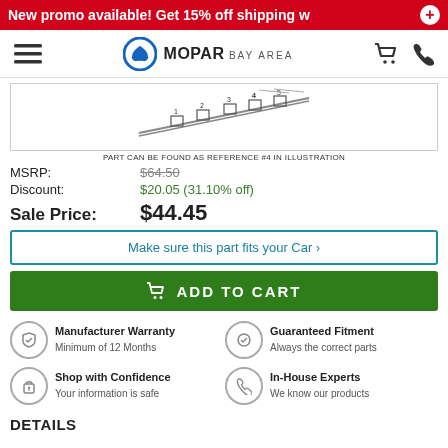New promo available! Get 15% off shipping w
[Figure (logo): Mopar Bay Area logo with hamburger menu, cart, and phone icons]
[Figure (schematic): Parts diagram illustration showing reference #4]
PART CAN BE FOUND AS REFERENCE #4 IN ILLUSTRATION
MSRP: $64.50
Discount: $20.05 (31.10% off)
Sale Price: $44.45
Make sure this part fits your Car ›
ADD TO CART
Manufacturer Warranty
Minimum of 12 Months
Guaranteed Fitment
Always the correct parts
Shop with Confidence
Your information is safe
In-House Experts
We know our products
DETAILS